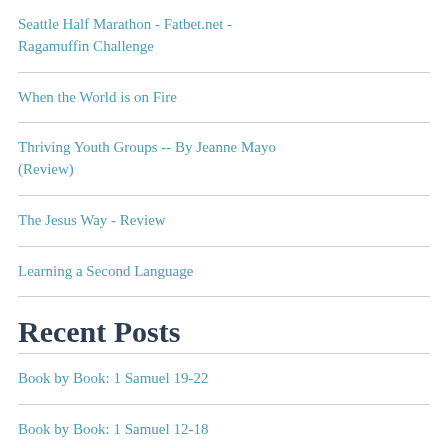Seattle Half Marathon - Fatbet.net - Ragamuffin Challenge
When the World is on Fire
Thriving Youth Groups -- By Jeanne Mayo (Review)
The Jesus Way - Review
Learning a Second Language
Recent Posts
Book by Book: 1 Samuel 19-22
Book by Book: 1 Samuel 12-18
Creekside Chronological Bible Podcast Week